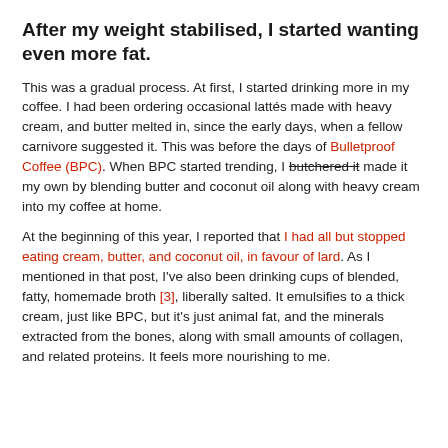After my weight stabilised, I started wanting even more fat.
This was a gradual process. At first, I started drinking more in my coffee. I had been ordering occasional lattés made with heavy cream, and butter melted in, since the early days, when a fellow carnivore suggested it. This was before the days of Bulletproof Coffee (BPC). When BPC started trending, I butchered it made it my own by blending butter and coconut oil along with heavy cream into my coffee at home.
At the beginning of this year, I reported that I had all but stopped eating cream, butter, and coconut oil, in favour of lard. As I mentioned in that post, I've also been drinking cups of blended, fatty, homemade broth [3], liberally salted. It emulsifies to a thick cream, just like BPC, but it's just animal fat, and the minerals extracted from the bones, along with small amounts of collagen, and related proteins. It feels more nourishing to me.